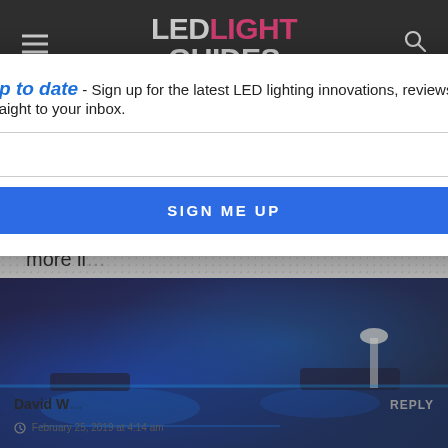LED LIGHT GUIDES
undecided on a light box. My products are candles in glass and tin containers. The largest jar is ab… lass, they ar… eed more li…
Also, I d… ce and are pho… opening would b…
Do you… circums…
[Figure (screenshot): Newsletter signup modal overlay on article page: 'Stay up to date - Sign up for the latest LED lighting innovations, reviews & ideas straight to your inbox.' with email input and SIGN ME UP button]
[Figure (photo): Outdoor lounge area illuminated with blue LED lighting at night]
David W…
February 25, 2019 at 4:14 am
REPLY